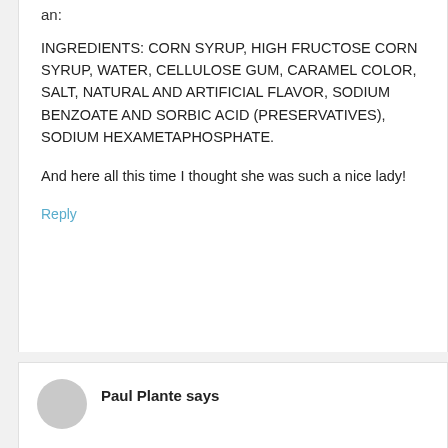an:
INGREDIENTS: CORN SYRUP, HIGH FRUCTOSE CORN SYRUP, WATER, CELLULOSE GUM, CARAMEL COLOR, SALT, NATURAL AND ARTIFICIAL FLAVOR, SODIUM BENZOATE AND SORBIC ACID (PRESERVATIVES), SODIUM HEXAMETAPHOSPHATE.
And here all this time I thought she was such a nice lady!
Reply
Paul Plante says